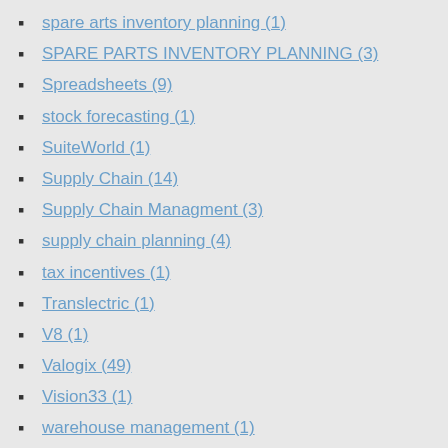spare arts inventory planning (1)
SPARE PARTS INVENTORY PLANNING (3)
Spreadsheets (9)
stock forecasting (1)
SuiteWorld (1)
Supply Chain (14)
Supply Chain Managment (3)
supply chain planning (4)
tax incentives (1)
Translectric (1)
V8 (1)
Valogix (49)
Vision33 (1)
warehouse management (1)